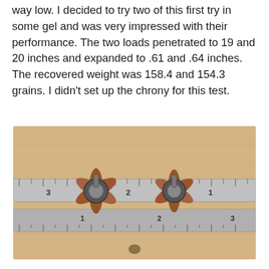way low. I decided to try two of this first try in some gel and was very impressed with their performance. The two loads penetrated to 19 and 20 inches and expanded to .61 and .64 inches. The recovered weight was 158.4 and 154.3 grains. I didn't set up the chrony for this test.
[Figure (photo): Two expanded copper hollow-point bullets placed on a metal ruler, showing mushroomed petals, viewed from above on a wooden surface.]